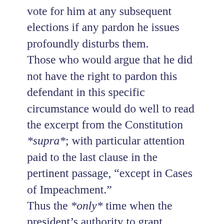vote for him at any subsequent elections if any pardon he issues profoundly disturbs them. Those who would argue that he did not have the right to pardon this defendant in this specific circumstance would do well to read the excerpt from the Constitution *supra*; with particular attention paid to the last clause in the pertinent passage, “except in Cases of Impeachment.” Thus the *only* time when the president’s authority to grant pardons is constrained is when the matter concerns the impeachment of an official. There is no wiggle room there, there is no room for “interpretation”; the injunction is explicit. This is not a question like “due process of law”, “unreasonable search and seizure”, “excessive bail”…those are all constitutional precepts where those who enacted them *understood* that they were allowing judges (and the other branches) some room for interpretation, and they were subject to